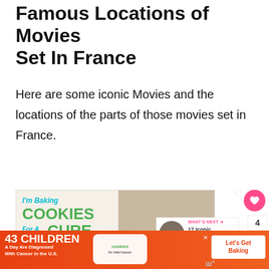Famous Locations of Movies Set In France
Here are some iconic Movies and the locations of the parts of those movies set in France.
[Figure (infographic): Advertisement banner: 'I'm Baking COOKIES For A CURE So can you!' featuring a young girl with text about 43 children a day being diagnosed with cancer in the U.S., and a 'Let's Get Baking' button. Includes a heart/like button showing count of 4, a share button, and a 'WHAT'S NEXT' panel showing '17 Iconic Amelie Movi...']